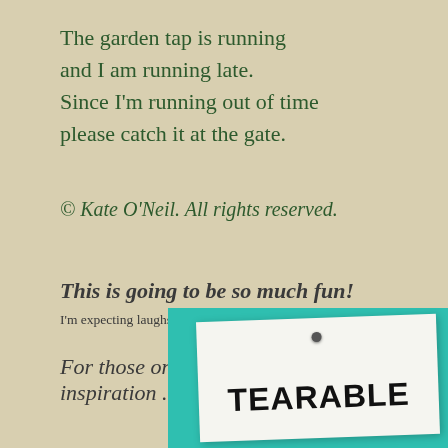The garden tap is running
and I am running late.
Since I'm running out of time
please catch it at the gate.
© Kate O'Neil. All rights reserved.
This is going to be so much fun!
I'm expecting laughs and groans in equal parts, folks, so don't disappoint m
For those on the lookout for more inspiration . . .
[Figure (photo): A teal/turquoise painted board with a white paper note pinned to it by a metal pin. The note reads 'TEARABLE' in large bold black letters.]